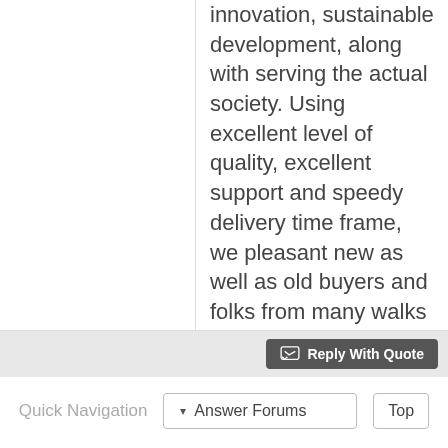innovation, sustainable development, along with serving the actual society. Using excellent level of quality, excellent support and speedy delivery time frame, we pleasant new as well as old buyers and folks from many walks regarding life to help cooperate and also win collectively.
Reply With Quote
Quick Navigation   ▾ Answer Forums   Top
« Previous Question | Next Question »
You may not post new
BB code is On